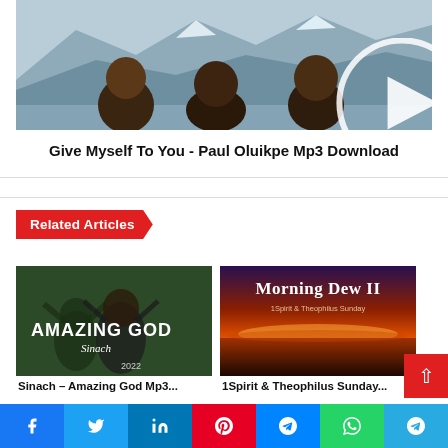[Figure (photo): Three men posing against a mountain and snow background, with a circular play button overlay]
Give Myself To You - Paul Oluikpe Mp3 Download
Related Articles
[Figure (photo): Amazing God by Sinach 2022 - green background with people raising hands, text overlay AMAZING GOD Sinach 2022]
[Figure (photo): Morning Dew II by 1Spirit & Theophilus Sunday - sunset over ocean]
Sinach – Amazing God Mp3...
1Spirit & Theophilus Sunday...